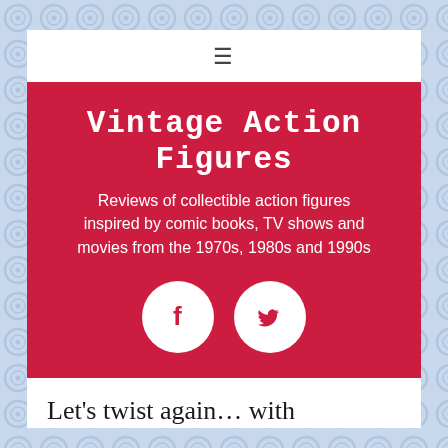[Figure (other): Decorative dot/circle tile pattern background in light blue/lavender]
Vintage Action Figures
Reviews of collectible action figures inspired by comic books, TV shows and movies from the 1970s, 1980s and 1990s
[Figure (other): Facebook icon (white circle with red F logo) and Twitter icon (white circle with red bird logo)]
Let's twist again… with